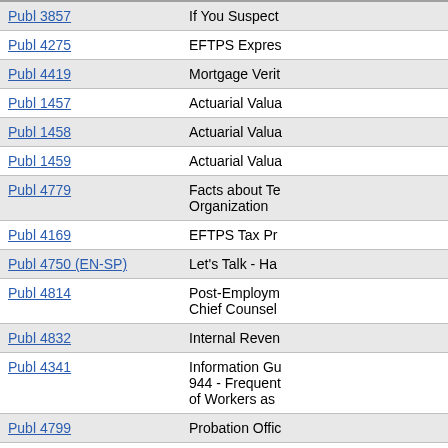| Publication | Description |
| --- | --- |
| Publ 3857 | If You Suspect |
| Publ 4275 | EFTPS Expres |
| Publ 4419 | Mortgage Verit |
| Publ 1457 | Actuarial Valua |
| Publ 1458 | Actuarial Valua |
| Publ 1459 | Actuarial Valua |
| Publ 4779 | Facts about Te Organization |
| Publ 4169 | EFTPS Tax Pr |
| Publ 4750 (EN-SP) | Let's Talk - Ha |
| Publ 4814 | Post-Employm Chief Counsel |
| Publ 4832 | Internal Reven |
| Publ 4341 | Information Gu 944 - Frequent of Workers as |
| Publ 4799 | Probation Offic |
| Publ 784 | Instructions on Subordination |
| Notc 844 | Federal Tax Ol |
| Publ 4224 | Retirement Pla |